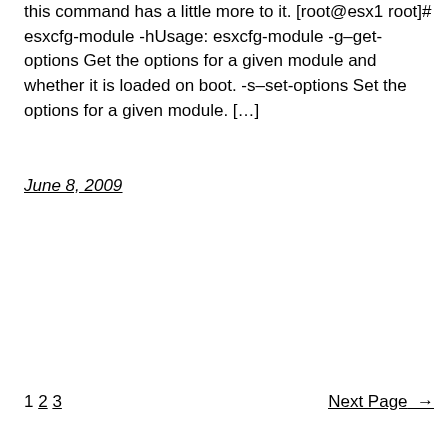this command has a little more to it. [root@esx1 root]# esxcfg-module -hUsage: esxcfg-module -g–get-options Get the options for a given module and whether it is loaded on boot. -s–set-options Set the options for a given module. […]
June 8, 2009
1 2 3   Next Page →